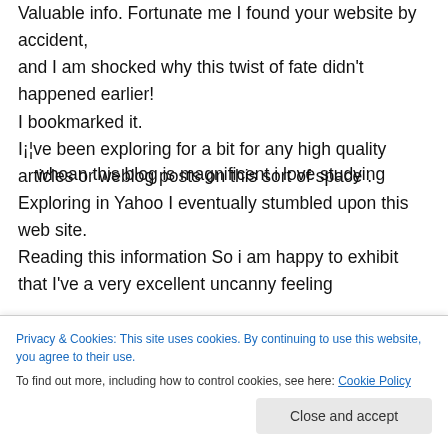Valuable info. Fortunate me I found your website by accident, and I am shocked why this twist of fate didn't happened earlier! I bookmarked it. I¡¦ve been exploring for a bit for any high quality articles or weblog posts on this sort of space . Exploring in Yahoo I eventually stumbled upon this web site. Reading this information So i am happy to exhibit that I've a very excellent uncanny feeling whoan this blog is magnificent i love studying
Privacy & Cookies: This site uses cookies. By continuing to use this website, you agree to their use. To find out more, including how to control cookies, see here: Cookie Policy